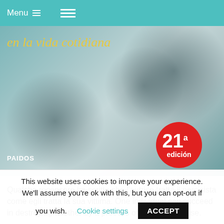Menu ≡  ☰
[Figure (photo): Book cover with teal/blue-grey blurred background, yellow italic title 'en la vida cotidiana', PAIDOS publisher label at bottom left, and a red circular badge reading '21a edición' at bottom right]
Qualche recensore ha scritto che l'autrice tratta il narcisista come egli tratta la sua vittima. One individual can succeed in destroying another by a process of emotional abuse.
This website uses cookies to improve your experience. We'll assume you're ok with this, but you can opt-out if you wish. Cookie settings  ACCEPT